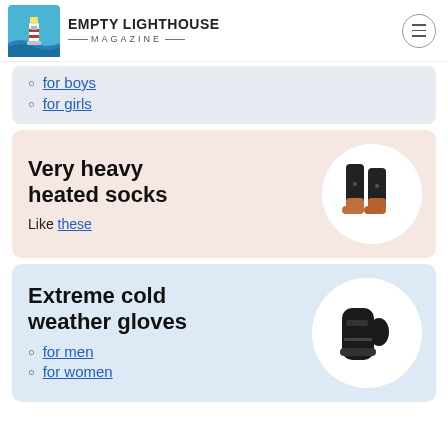EMPTY LIGHTHOUSE MAGAZINE
for boys
for girls
Very heavy heated socks
Like these
[Figure (photo): Photo of black and orange heated compression socks in a circular frame]
Extreme cold weather gloves
for men
for women
[Figure (photo): Photo of black extreme cold weather mittens/gloves in a circular frame]